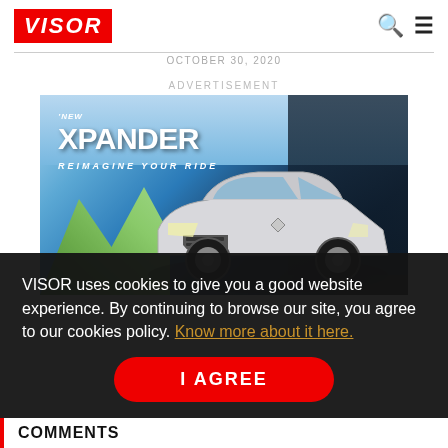VISOR
OCTOBER 30, 2020
ADVERTISEMENT
[Figure (photo): Advertisement for the New Mitsubishi Xpander with tagline REIMAGINE YOUR RIDE, showing the silver SUV against a mountain and city background]
VISOR uses cookies to give you a good website experience. By continuing to browse our site, you agree to our cookies policy. Know more about it here.
I AGREE
COMMENTS